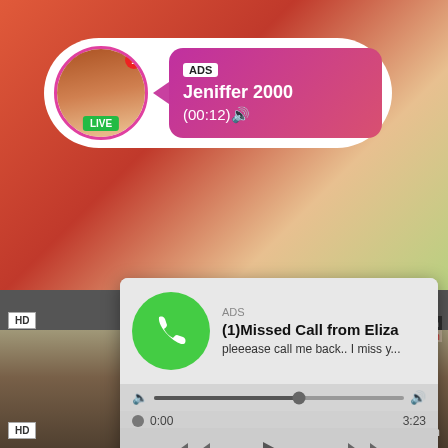[Figure (screenshot): Background showing reddish/skin-toned video thumbnails top and bottom, overlaid with two ad popup overlays]
ADS
Jeniffer 2000
(00:12)🔊
LIVE
HD
ADS
(1)Missed Call from Eliza
pleeease call me back.. I miss y...
0:00
3:23
blond
ma...
HD
8 min